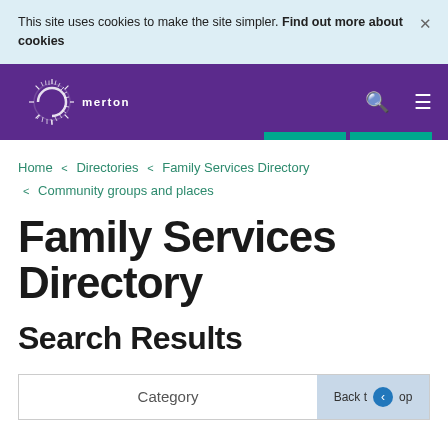This site uses cookies to make the site simpler. Find out more about cookies
[Figure (logo): Merton council logo with circular sun-ray symbol in white on purple background]
Home > Directories > Family Services Directory > Community groups and places
Family Services Directory
Search Results
Category